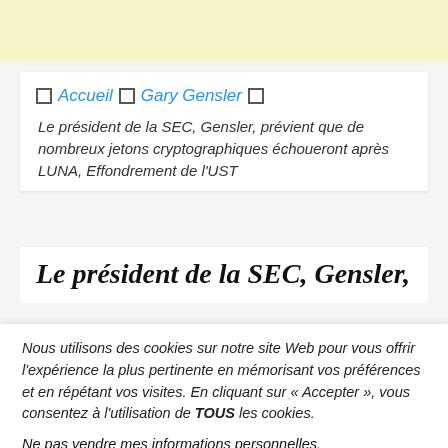[Figure (other): Yellow banner at top of page]
Accueil  Gary Gensler
Le président de la SEC, Gensler, prévient que de nombreux jetons cryptographiques échoueront après LUNA, Effondrement de l'UST
Le président de la SEC, Gensler,
Nous utilisons des cookies sur notre site Web pour vous offrir l'expérience la plus pertinente en mémorisant vos préférences et en répétant vos visites. En cliquant sur « Accepter », vous consentez à l'utilisation de TOUS les cookies.
Ne pas vendre mes informations personnelles.
Paramètres des cookies   J'accepte